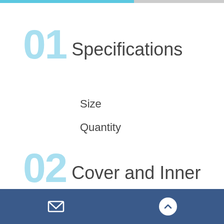01 Specifications
Size
Quantity
02 Cover and Inner
Pages
gsm